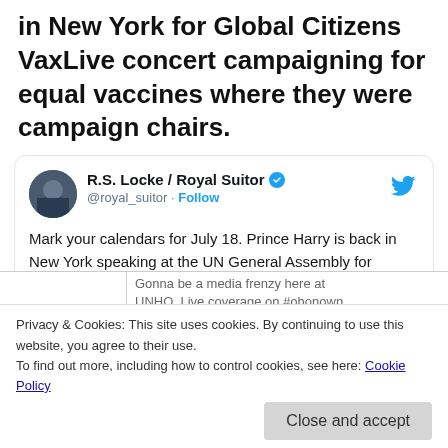in New York for Global Citizens VaxLive concert campaigning for equal vaccines where they were campaign chairs.
R.S. Locke / Royal Suitor @royal_suitor · Follow
Mark your calendars for July 18. Prince Harry is back in New York speaking at the UN General Assembly for #NelsonMandelaDay. This promises to be some speech.
Sherwin Brvce-P... @sherwi...
Privacy & Cookies: This site uses cookies. By continuing to use this website, you agree to their use.
To find out more, including how to control cookies, see here: Cookie Policy
Close and accept
Gonna be a media frenzy here at UNHO. Live coverage on #ohonown